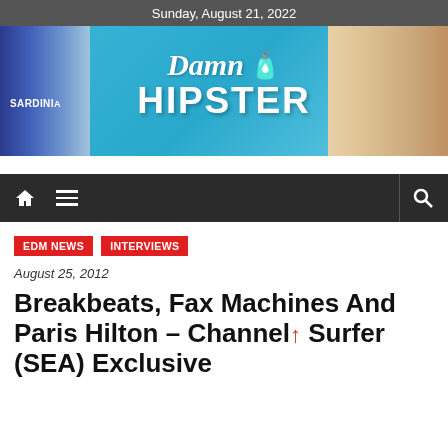Sunday, August 21, 2022
[Figure (illustration): Damn Hipster blog banner with mustache logo, street scene background with blue sky, left building in blue/purple tones, right buildings in warm tones, 'SARDINIA' text on left side]
[Figure (infographic): Dark navigation bar with home icon, hamburger menu icon, and search icon]
EDM NEWS   INTERVIEWS
August 25, 2012
Breakbeats, Fax Machines And Paris Hilton – Channel Surfer (SEA) Exclusive